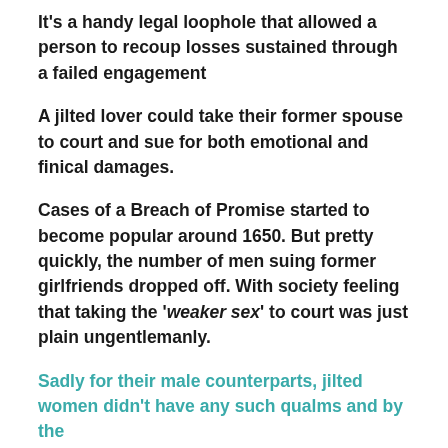It's a handy legal loophole that allowed a person to recoup losses sustained through a failed engagement
A jilted lover could take their former spouse to court and sue for both emotional and finical damages.
Cases of a Breach of Promise started to become popular around 1650. But pretty quickly, the number of men suing former girlfriends dropped off. With society feeling that taking the 'weaker sex' to court was just plain ungentlemanly.
Sadly for their male counterparts, jilted women didn't have any such qualms and by the